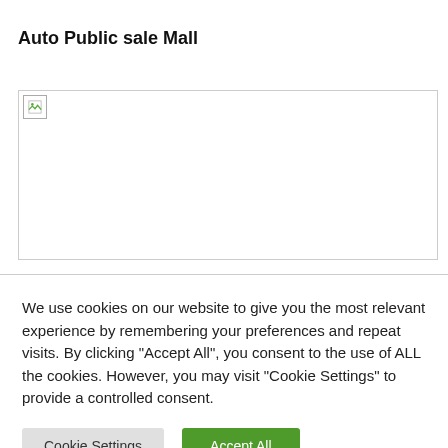Auto Public sale Mall
[Figure (other): Broken/unloaded image placeholder with small icon in top-left corner, wide rectangle with border]
We use cookies on our website to give you the most relevant experience by remembering your preferences and repeat visits. By clicking "Accept All", you consent to the use of ALL the cookies. However, you may visit "Cookie Settings" to provide a controlled consent.
Cookie Settings | Accept All